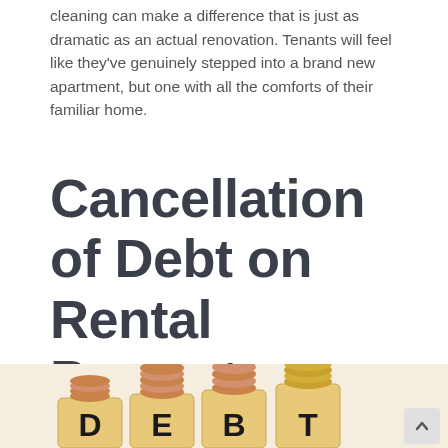cleaning can make a difference that is just as dramatic as an actual renovation. Tenants will feel like they've genuinely stepped into a brand new apartment, but one with all the comforts of their familiar home.
Cancellation of Debt on Rental Property
[Figure (photo): Wooden letter blocks spelling DEBT with stacks of coins on top of each block, arranged in ascending height order from left to right, on a light background.]